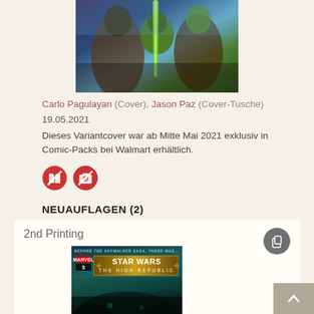[Figure (illustration): Comic book cover artwork showing characters with lightsaber, dark fantasy style]
Carlo Pagulayan (Cover), Jason Paz (Cover-Tusche)
19.05.2021
Dieses Variantcover war ab Mitte Mai 2021 exklusiv in Comic-Packs bei Walmart erhältlich.
[Figure (illustration): Two small circular icons (red background with white symbols)]
NEUAUFLAGEN (2)
2nd Printing
[Figure (illustration): Star Wars: The High Republic comic book cover, issue 3, Marvel, teal/dark color scheme]